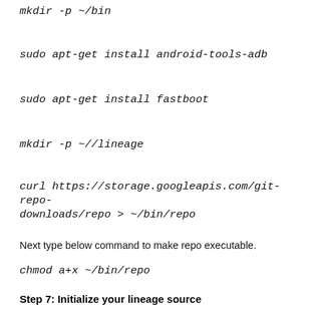mkdir -p ~/bin
sudo apt-get install android-tools-adb
sudo apt-get install fastboot
mkdir -p ~//lineage
curl https://storage.googleapis.com/git-repo-downloads/repo > ~/bin/repo
Next type below command to make repo executable.
chmod a+x ~/bin/repo
Step 7: Initialize your lineage source